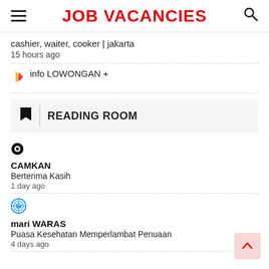JOB VACANCIES
cashier, waiter, cooker | jakarta
15 hours ago
info LOWONGAN +
READING ROOM
CAMKAN
Berterima Kasih
1 day ago
mari WARAS
Puasa Kesehatan Memperlambat Penuaan
4 days ago